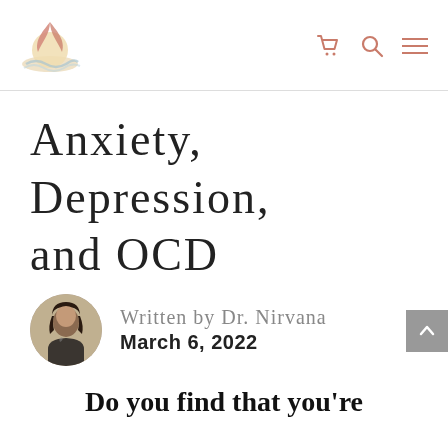Website header with logo and navigation icons
Anxiety, Depression, and OCD
Written by Dr. Nirvana
March 6, 2022
Do you find that you're